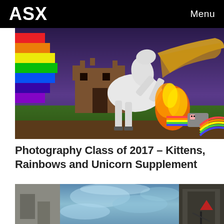ASX  Menu
[Figure (photo): A white horse rearing up against a colorful digital background featuring a pixelated rainbow, a Minecraft-style castle, fire effects, and a Nyan Cat meme in the lower right corner. The horse has flowing blonde/golden hair.]
Photography Class of 2017 – Kittens, Rainbows and Unicorn Supplement
[Figure (photo): A partially visible composite image showing cloudy blue sky/aerial texture in the center, a grayish urban scene on the left edge, and a dark building with a triangular red symbol on the right edge.]